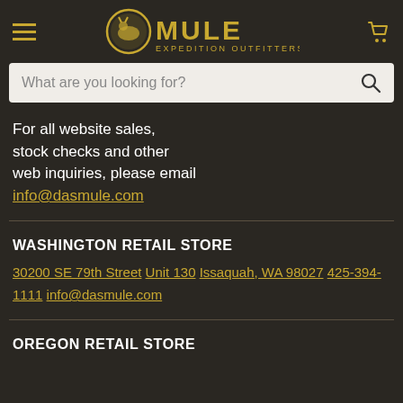[Figure (logo): Mule Expedition Outfitters logo with golden circular emblem and text]
What are you looking for?
For all website sales, stock checks and other web inquiries, please email info@dasmule.com
WASHINGTON RETAIL STORE
30200 SE 79th Street
Unit 130
Issaquah, WA 98027
425-394-1111
info@dasmule.com
OREGON RETAIL STORE